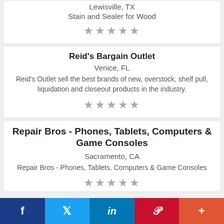Lewisville, TX
Stain and Sealer for Wood
[Figure (other): 5 empty stars rating]
Reid's Bargain Outlet
Venice, FL
Reid's Outlet sell the best brands of new, overstock, shelf pull, liquidation and closeout products in the industry.
[Figure (other): 5 empty stars rating]
Repair Bros - Phones, Tablets, Computers & Game Consoles
Sacramento, CA
Repair Bros - Phones, Tablets, Computers & Game Consoles
[Figure (other): 5 empty stars rating (partially visible)]